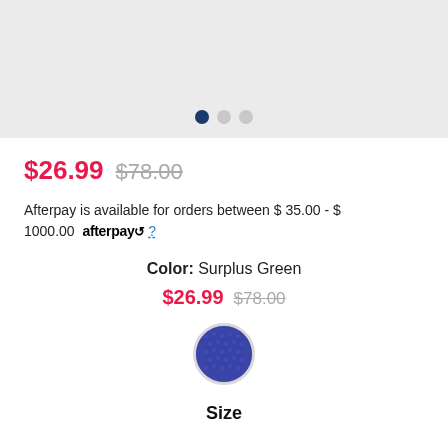[Figure (photo): Light gray product image area with three pagination dots (one dark navy, two light gray) at the bottom center]
$26.99  $78.00
Afterpay is available for orders between $ 35.00 - $ 1000.00  afterpay  ?
Color: Surplus Green
$26.99  $78.00
[Figure (photo): Circular color swatch showing blue/navy knitted fabric texture with light gray border]
Size